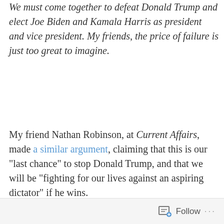We must come together to defeat Donald Trump and elect Joe Biden and Kamala Harris as president and vice president. My friends, the price of failure is just too great to imagine.
My friend Nathan Robinson, at Current Affairs, made a similar argument, claiming that this is our "last chance" to stop Donald Trump, and that we will be "fighting for our lives against an aspiring dictator" if he wins.
This is a grave mistake. Trump, for all his faults, poses no existential threat to the republic. What's more, Sanders and Robinson are deeply underestimating the damage a Biden presidency will cause. The Republican Party has become what it is because of Democrats like Joe Biden. These Democrats are pushing the Republican Party
Follow ···